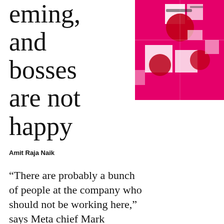…eming, and bosses are not happy
[Figure (photo): Abstract photo collage on a hot pink/magenta background featuring fragmented images of faces, spherical objects, and geometric white shapes arranged in a grid-like composition.]
Amit Raja Naik
“There are probably a bunch of people at the company who should not be working here,” says Meta chief Mark